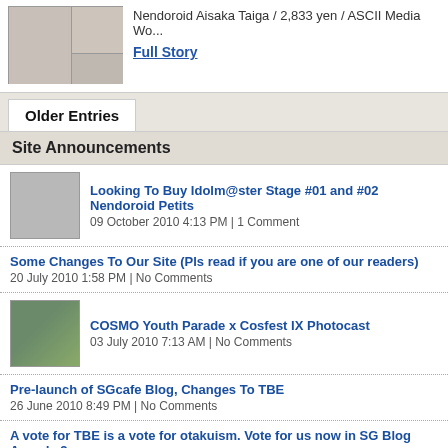Nendoroid Aisaka Taiga / 2,833 yen / ASCII Media Wo...
Full Story
Older Entries
Site Announcements
Looking To Buy Idolm@ster Stage #01 and #02 Nendoroid Petits
09 October 2010 4:13 PM | 1 Comment
Some Changes To Our Site (Pls read if you are one of our readers)
20 July 2010 1:58 PM | No Comments
COSMO Youth Parade x Cosfest IX Photocast
03 July 2010 7:13 AM | No Comments
Pre-launch of SGcafe Blog, Changes To TBE
26 June 2010 8:49 PM | No Comments
A vote for TBE is a vote for otakuism. Vote for us now in SG Blog Awards 2...